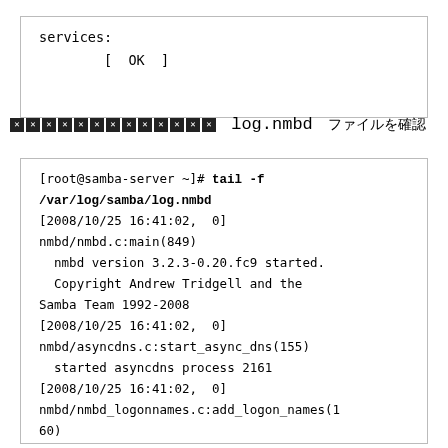services:
        [  OK  ]
███████████████ log.nmbd ████████████
[root@samba-server ~]# tail -f /var/log/samba/log.nmbd
[2008/10/25 16:41:02,  0] nmbd/nmbd.c:main(849)
  nmbd version 3.2.3-0.20.fc9 started.
  Copyright Andrew Tridgell and the Samba Team 1992-2008
[2008/10/25 16:41:02,  0] nmbd/asyncdns.c:start_async_dns(155)
  started asyncdns process 2161
[2008/10/25 16:41:02,  0] nmbd/nmbd_logonnames.c:add_logon_names(160)